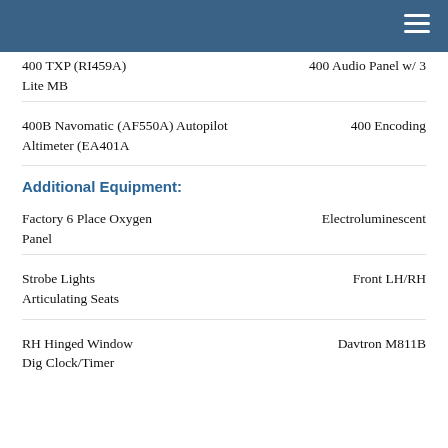400 TXP (RI459A) Lite MB	400 Audio Panel w/ 3
400B Navomatic (AF550A) Autopilot	400 Encoding Altimeter (EA401A
Additional Equipment:
Factory 6 Place Oxygen		Electroluminescent Panel
Strobe Lights				Front LH/RH Articulating Seats
RH Hinged Window			Davtron M811B Dig Clock/Timer